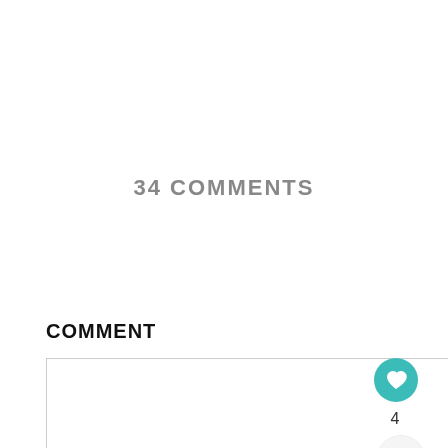34 COMMENTS
COMMENT
Write your comment...
NAME *